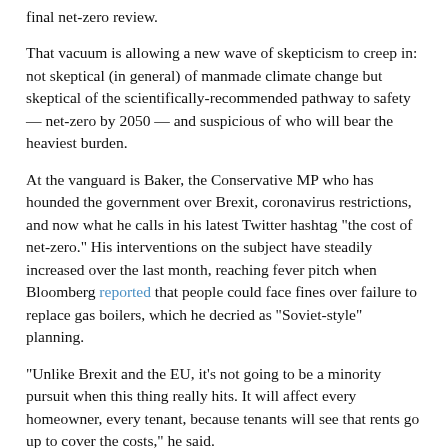final net-zero review.
That vacuum is allowing a new wave of skepticism to creep in: not skeptical (in general) of manmade climate change but skeptical of the scientifically-recommended pathway to safety — net-zero by 2050 — and suspicious of who will bear the heaviest burden.
At the vanguard is Baker, the Conservative MP who has hounded the government over Brexit, coronavirus restrictions, and now what he calls in his latest Twitter hashtag "the cost of net-zero." His interventions on the subject have steadily increased over the last month, reaching fever pitch when Bloomberg reported that people could face fines over failure to replace gas boilers, which he decried as "Soviet-style" planning.
"Unlike Brexit and the EU, it's not going to be a minority pursuit when this thing really hits. It will affect every homeowner, every tenant, because tenants will see that rents go up to cover the costs," he said.
The temptation for Baker's opponents may be to dismiss him as representative of a small minority — after all, on coronavirus, his protests against lockdown measures never really captured the